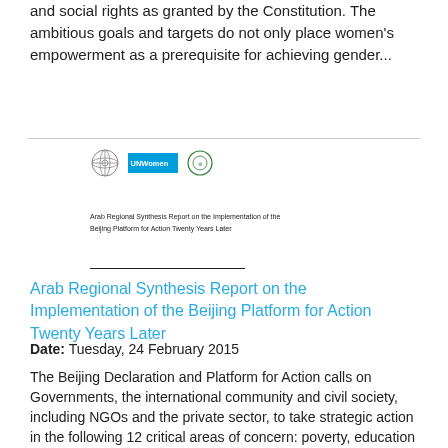and social rights as granted by the Constitution. The ambitious goals and targets do not only place women's empowerment as a prerequisite for achieving gender...
[Figure (logo): Three logos: UN emblem, UN Women logo, and Arab League emblem]
Arab Regional Synthesis Report on the Implementation of the Beijing Platform for Action Twenty Years Later (small document title text)
Arab Regional Synthesis Report on the Implementation of the Beijing Platform for Action Twenty Years Later
Date: Tuesday, 24 February 2015
The Beijing Declaration and Platform for Action calls on Governments, the international community and civil society, including NGOs and the private sector, to take strategic action in the following 12 critical areas of concern: poverty, education and training, health, violence, armed conflict, the economy, power and decision-making, institutional mechanisms for the advancement of women, human rights, media, the environment, and the girl child.